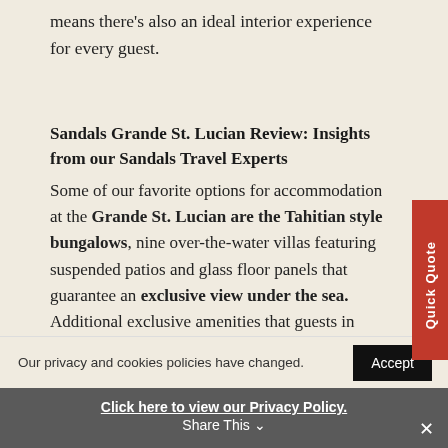means there's also an ideal interior experience for every guest.
Sandals Grande St. Lucian Review: Insights from our Sandals Travel Experts
Some of our favorite options for accommodation at the Grande St. Lucian are the Tahitian style bungalows, nine over-the-water villas featuring suspended patios and glass floor panels that guarantee an exclusive view under the sea. Additional exclusive amenities that guests in these bungalows
Our privacy and cookies policies have changed.
Click here to view our Privacy Policy.
Share This